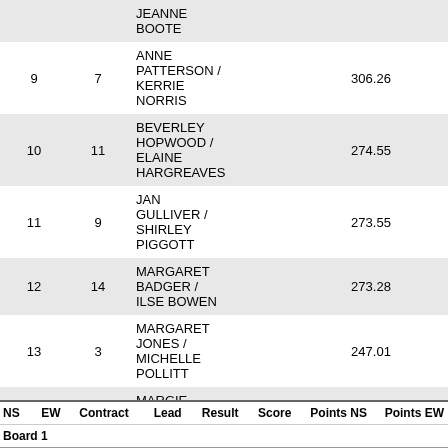| NS | EW | Name | Score | Pct |
| --- | --- | --- | --- | --- |
|  |  | JEANNE BOOTE |  |  |
| 9 | 7 | ANNE PATTERSON / KERRIE NORRIS | 306.26 | 49.08% |
| 10 | 11 | BEVERLEY HOPWOOD / ELAINE HARGREAVES | 274.55 | 44.00% |
| 11 | 9 | JAN GULLIVER / SHIRLEY PIGGOTT | 273.55 | 43.84% |
| 12 | 14 | MARGARET BADGER / ILSE BOWEN | 273.28 | 43.80% |
| 13 | 3 | MARGARET JONES / MICHELLE POLLITT | 247.01 | 39.59% |
| 14 | 1 | MARGIE MORRIS / DALE MCLEOD | 245.12 | 39.28% |
| NS | EW | Contract | Lead | Result | Score | Points NS | Points EW |
| --- | --- | --- | --- | --- | --- | --- | --- |
Board 1